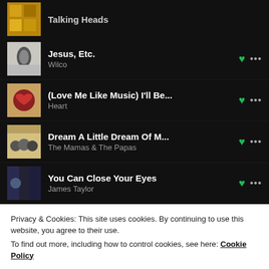Talking Heads
Jesus, Etc. — Wilco
(Love Me Like Music) I'll Be... — Heart
Dream A Little Dream Of M... — The Mamas & The Papas
You Can Close Your Eyes — James Taylor
Privacy & Cookies: This site uses cookies. By continuing to use this website, you agree to their use.
To find out more, including how to control cookies, see here: Cookie Policy
Sloop John B - Remastered